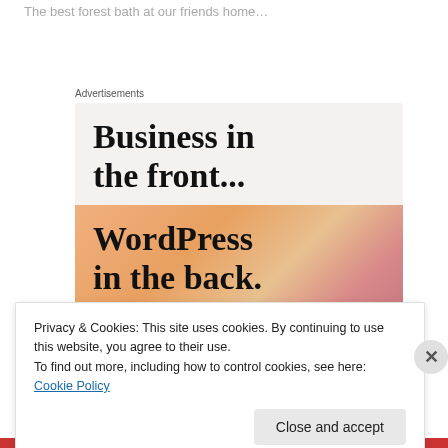The best forest bath at our friends home…
Advertisements
[Figure (infographic): WordPress advertisement: top half beige background with bold serif text 'Business in the front...', bottom half with colorful gradient background (peach/mauve) with bold serif text 'WordPress in the back.']
Privacy & Cookies: This site uses cookies. By continuing to use this website, you agree to their use.
To find out more, including how to control cookies, see here: Cookie Policy
Close and accept